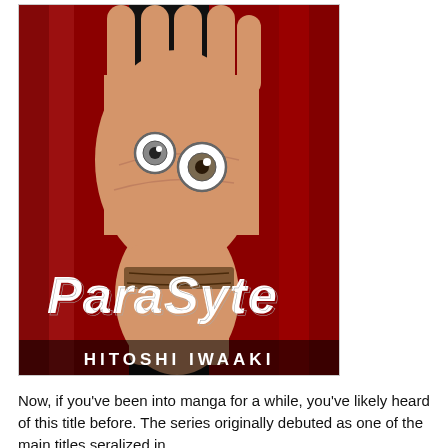[Figure (illustration): Book cover of 'Parasyte' by Hitoshi Iwaaki. Dark red background with a human hand raised, palm facing outward, with two eyes embedded in the palm. The title 'ParaSyte' is written in distressed white lettering across the lower portion of the hand/wrist. The author name 'HITOSHI IWAAKI' is at the bottom in bold white capital letters.]
Now, if you've been into manga for a while, you've likely heard of this title before. The series originally debuted as one of the main titles seralized in